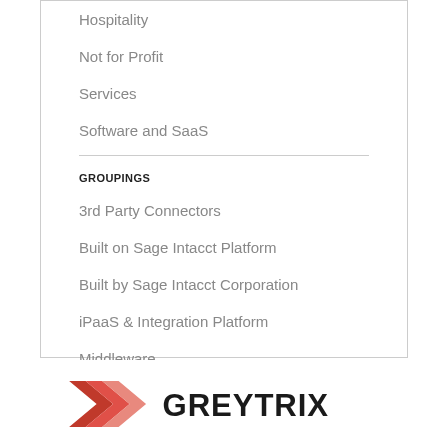Hospitality
Not for Profit
Services
Software and SaaS
GROUPINGS
3rd Party Connectors
Built on Sage Intacct Platform
Built by Sage Intacct Corporation
iPaaS & Integration Platform
Middleware
Direct Integrations
[Figure (logo): Greytrix logo with red/salmon chevron arrows and the word GREYTRIX in dark text]